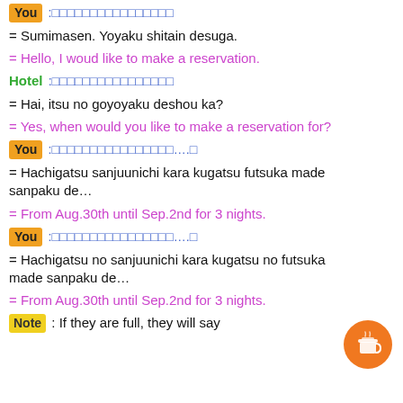You :□□□□□□□□□□□□□□□□
= Sumimasen. Yoyaku shitain desuga.
= Hello, I woud like to make a reservation.
Hotel :□□□□□□□□□□□□□□□□
= Hai, itsu no goyoyaku deshou ka?
= Yes, when would you like to make a reservation for?
You :□□□□□□□□□□□□□□□□….□
= Hachigatsu sanjuunichi kara kugatsu futsuka made sanpaku de…
= From Aug.30th until Sep.2nd for 3 nights.
You :□□□□□□□□□□□□□□□□….□
= Hachigatsu no sanjuunichi kara kugatsu no futsuka made sanpaku de…
= From Aug.30th until Sep.2nd for 3 nights.
Note : If they are full, they will say